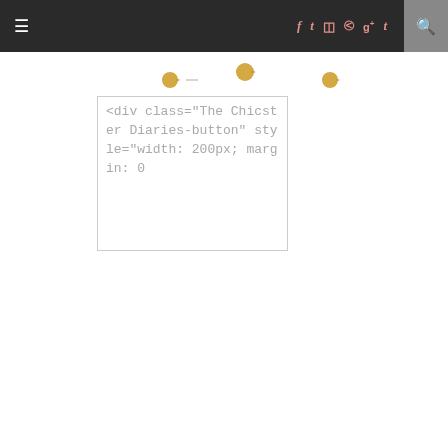≡  f  t  ☷  ℗  g+  t  🔍
[Figure (screenshot): Decorative golden dots/pins on a white background]
<div class="The Chicster Diaries-button" style="width: 200px; margin: 0